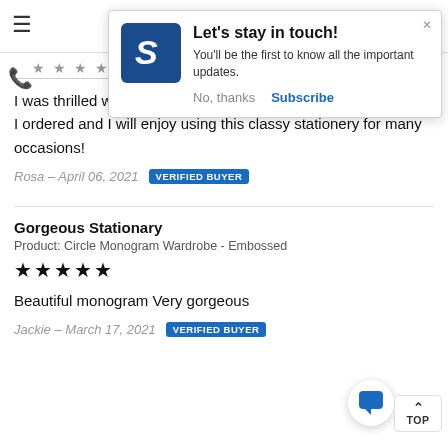[Figure (screenshot): Popup notification with blue S logo icon saying 'Let's stay in touch! You'll be the first to know all the important updates.' with 'No, thanks' and 'Subscribe' buttons]
I was thrilled when my order was delivered! It was exactly what I ordered and I will enjoy using this classy stationery for many occasions!
Rosa – April 06, 2021 VERIFIED BUYER
Gorgeous Stationary
Product: Circle Monogram Wardrobe - Embossed
★★★★★
Beautiful monogram Very gorgeous
Jackie – March 17, 2021 VERIFIED BUYER